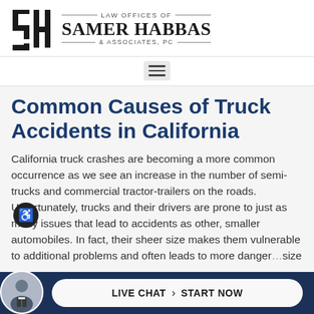[Figure (logo): Law Offices of Samer Habbas & Associates, PC logo with SH monogram]
Common Causes of Truck Accidents in California
California truck crashes are becoming a more common occurrence as we see an increase in the number of semi-trucks and commercial tractor-trailers on the roads. Unfortunately, trucks and their drivers are prone to just as many issues that lead to accidents as other, smaller automobiles. In fact, their sheer size makes them vulnerable to additional problems and often leads to more dangerous accidents than other, similarly-sized size
[Figure (infographic): Live chat button with attorney avatar photo, text LIVE CHAT START NOW]